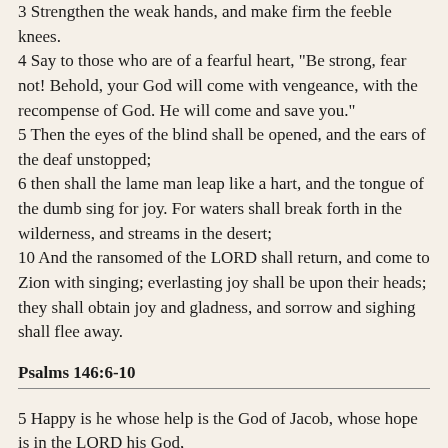3 Strengthen the weak hands, and make firm the feeble knees. 4 Say to those who are of a fearful heart, "Be strong, fear not! Behold, your God will come with vengeance, with the recompense of God. He will come and save you." 5 Then the eyes of the blind shall be opened, and the ears of the deaf unstopped; 6 then shall the lame man leap like a hart, and the tongue of the dumb sing for joy. For waters shall break forth in the wilderness, and streams in the desert; 10 And the ransomed of the LORD shall return, and come to Zion with singing; everlasting joy shall be upon their heads; they shall obtain joy and gladness, and sorrow and sighing shall flee away.
Psalms 146:6-10
5 Happy is he whose help is the God of Jacob, whose hope is in the LORD his God, 6 who made heaven and earth, the sea, and all that is in them; who keeps faith for ever; 7 who executes justice for the oppressed; who gives food to the hungry. The LORD sets the prisoners free; 8 the LORD opens the eyes of the blind. The LORD lifts up those